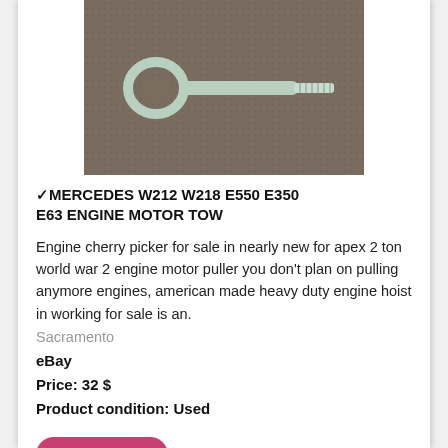[Figure (photo): A metal eye bolt / tow hook on a dark grey background]
✓MERCEDES W212 W218 E550 E350 E63 ENGINE MOTOR TOW
Engine cherry picker for sale in nearly new for apex 2 ton world war 2 engine motor puller you don't plan on pulling anymore engines, american made heavy duty engine hoist in working for sale is an.
Sacramento
eBay
Price: 32 $
Product condition: Used